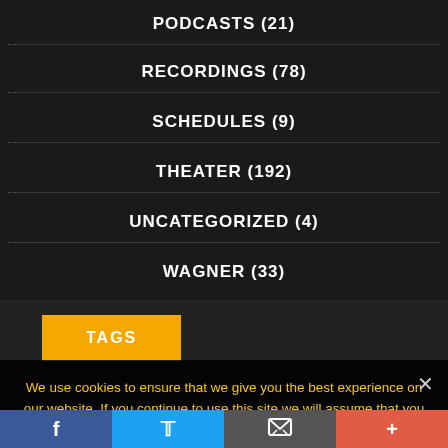PODCASTS (21)
RECORDINGS (78)
SCHEDULES (9)
THEATER (192)
UNCATEGORIZED (4)
WAGNER (33)
TAGS
We use cookies to ensure that we give you the best experience on our website. If you continue to use this site we will assume that you are happy with it.